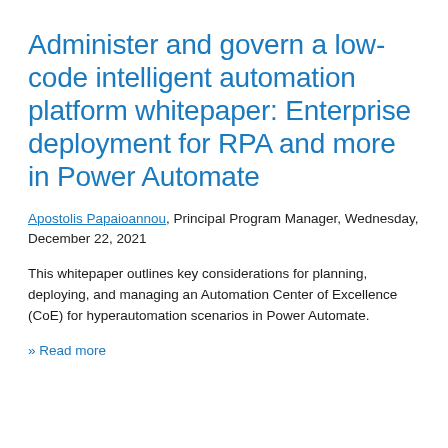Administer and govern a low-code intelligent automation platform whitepaper: Enterprise deployment for RPA and more in Power Automate
Apostolis Papaioannou, Principal Program Manager, Wednesday, December 22, 2021
This whitepaper outlines key considerations for planning, deploying, and managing an Automation Center of Excellence (CoE) for hyperautomation scenarios in Power Automate.
» Read more